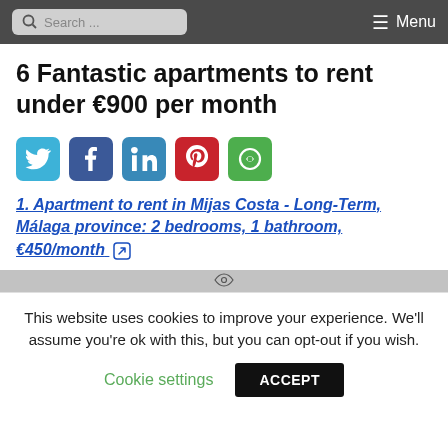Search ... Menu
6 Fantastic apartments to rent under €900 per month
[Figure (other): Row of social media share buttons: Twitter, Facebook, LinkedIn, Pinterest, Share (green)]
1. Apartment to rent in Mijas Costa - Long-Term, Málaga province: 2 bedrooms, 1 bathroom, €450/month
[Figure (photo): Partial image strip showing top of an apartment photo]
This website uses cookies to improve your experience. We'll assume you're ok with this, but you can opt-out if you wish.
Cookie settings  ACCEPT